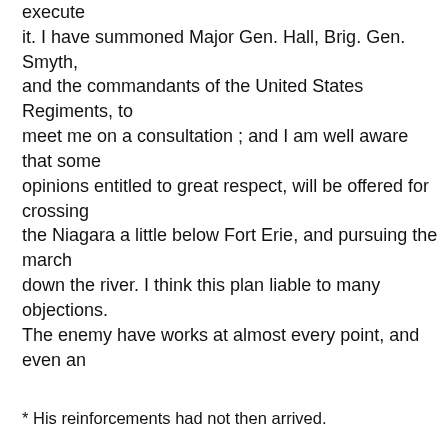execute it. I have summoned Major Gen. Hall, Brig. Gen. Smyth, and the commandants of the United States Regiments, to meet me on a consultation ; and I am well aware that some opinions entitled to great respect, will be offered for crossing the Niagara a little below Fort Erie, and pursuing the march down the river. I think this plan liable to many objections. The enemy have works at almost every point, and even an
* His reinforcements had not then arrived.